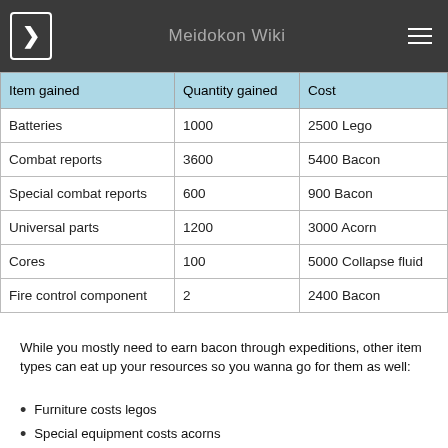Meidokon Wiki
| Item gained | Quantity gained | Cost |
| --- | --- | --- |
| Batteries | 1000 | 2500 Lego |
| Combat reports | 3600 | 5400 Bacon |
| Special combat reports | 600 | 900 Bacon |
| Universal parts | 1200 | 3000 Acorn |
| Cores | 100 | 5000 Collapse fluid |
| Fire control component | 2 | 2400 Bacon |
While you mostly need to earn bacon through expeditions, other item types can eat up your resources so you wanna go for them as well:
Furniture costs legos
Special equipment costs acorns
Effects can be paid in collapse fluid, or other currencies